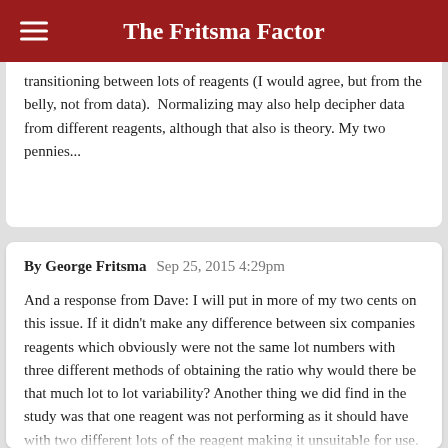The Fritsma Factor
transitioning between lots of reagents (I would agree, but from the belly, not from data).  Normalizing may also help decipher data from different reagents, although that also is theory. My two pennies...
By George Fritsma   Sep 25, 2015 4:29pm

And a response from Dave: I will put in more of my two cents on this issue. If it didn't make any difference between six companies reagents which obviously were not the same lot numbers with three different methods of obtaining the ratio why would there be that much lot to lot variability? Another thing we did find in the study was that one reagent was not performing as it should have with two different lots of the reagent making it unsuitable for use. So normalizing two had